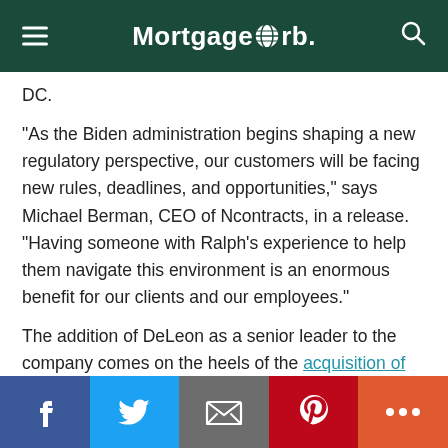MortgageOrb.
DC.
“As the Biden administration begins shaping a new regulatory perspective, our customers will be facing new rules, deadlines, and opportunities,” says Michael Berman, CEO of Ncontracts, in a release. “Having someone with Ralph’s experience to help them navigate this environment is an enormous benefit for our clients and our employees.”
The addition of DeLeon as a senior leader to the company comes on the heels of the acquisition of QuestSoft Corp. earlier this year, as well as other senior leadership additions in human resources and sales.
Social share bar: Facebook, Twitter, Email, Pinterest, More